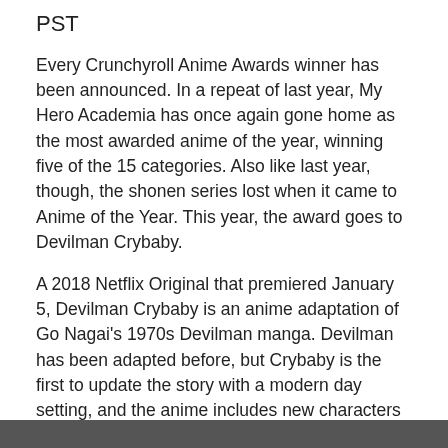PST
Every Crunchyroll Anime Awards winner has been announced. In a repeat of last year, My Hero Academia has once again gone home as the most awarded anime of the year, winning five of the 15 categories. Also like last year, though, the shonen series lost when it came to Anime of the Year. This year, the award goes to Devilman Crybaby.
A 2018 Netflix Original that premiered January 5, Devilman Crybaby is an anime adaptation of Go Nagai's 1970s Devilman manga. Devilman has been adapted before, but Crybaby is the first to update the story with a modern day setting, and the anime includes new characters and an adjusted plot. Devilman Crybaby focuses on two best friends, Akira Fudo and Ryo Asuka. After discovering demons are real, Akira convinces Ryo to become possessed by one in order to give humanity a fighting chance against the supernatural threat. Now half human and half demon, Ryo calls himself the Devilman and protects the world as a violent superhero.